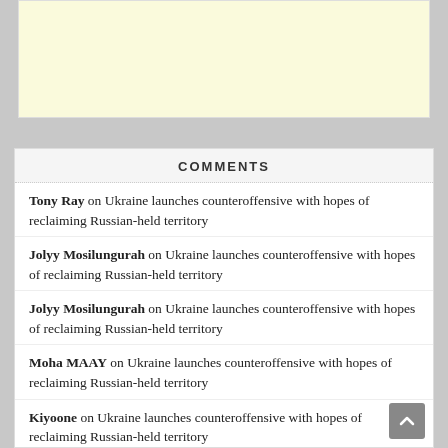[Figure (other): Advertisement placeholder area with light yellow background]
COMMENTS
Tony Ray on Ukraine launches counteroffensive with hopes of reclaiming Russian-held territory
Jolyy Mosilungurah on Ukraine launches counteroffensive with hopes of reclaiming Russian-held territory
Jolyy Mosilungurah on Ukraine launches counteroffensive with hopes of reclaiming Russian-held territory
Moha MAAY on Ukraine launches counteroffensive with hopes of reclaiming Russian-held territory
Kiyoone on Ukraine launches counteroffensive with hopes of reclaiming Russian-held territory